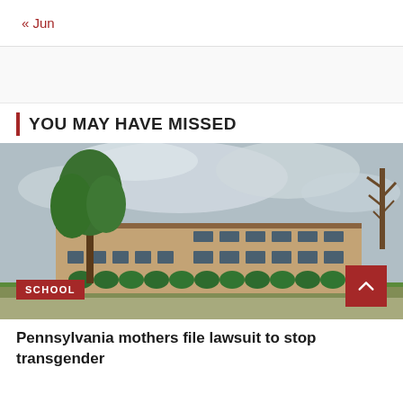« Jun
YOU MAY HAVE MISSED
[Figure (photo): Exterior photo of a brick school building with green lawn, trees, and cloudy sky. A red SCHOOL badge is visible in the lower left, and a red scroll-to-top arrow button is in the lower right.]
Pennsylvania mothers file lawsuit to stop transgender